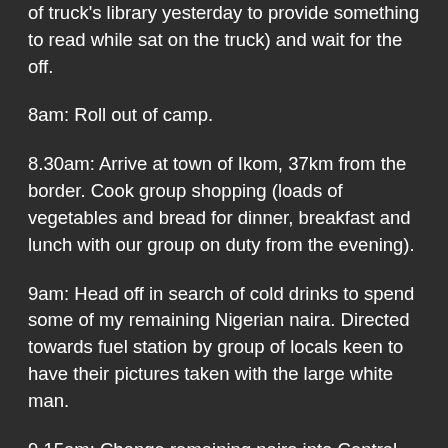of truck's library yesterday to provide something to read while sat on the truck) and wait for the off.
8am: Roll out of camp.
8.30am: Arrive at town of Ikom, 37km from the border. Cook group shopping (loads of vegetables and bread for dinner, breakfast and lunch with our group on duty from the evening).
9am: Head off in search of cold drinks to spend some of my remaining Nigerian naira. Directed towards fuel station by group of locals keen to have their pictures taken with the large white man.
9.15am: Change remaining naira into Central African CFA as it is illegal to take currency out of the country.
9.45am: Both trucks pull away from Ikom and head